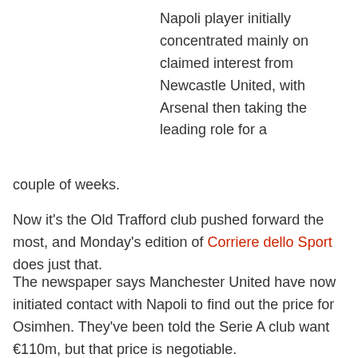Napoli player initially concentrated mainly on claimed interest from Newcastle United, with Arsenal then taking the leading role for a couple of weeks.
Now it's the Old Trafford club pushed forward the most, and Monday's edition of Corriere dello Sport does just that.
The newspaper says Manchester United have now initiated contact with Napoli to find out the price for Osimhen. They've been told the Serie A club want €110m, but that price is negotiable.